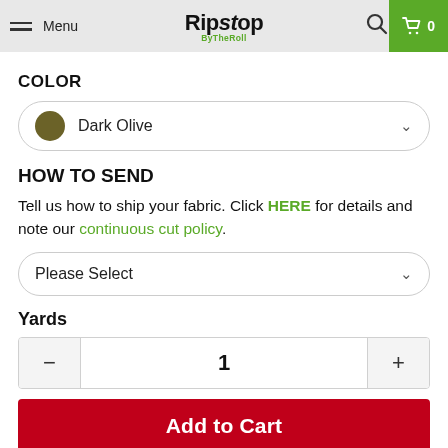Menu | Ripstop By The Roll | Search | Cart 0
COLOR
Dark Olive
HOW TO SEND
Tell us how to ship your fabric. Click HERE for details and note our continuous cut policy.
Please Select
Yards
1
Add to Cart